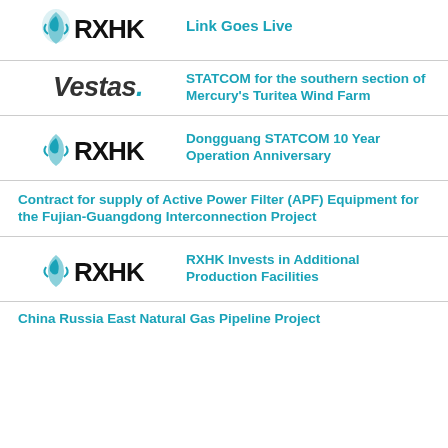[Figure (logo): RXHK logo with bird emblem]
Link Goes Live
[Figure (logo): Vestas logo]
STATCOM for the southern section of Mercury's Turitea Wind Farm
[Figure (logo): RXHK logo with bird emblem]
Dongguang STATCOM 10 Year Operation Anniversary
Contract for supply of Active Power Filter (APF) Equipment for the Fujian-Guangdong Interconnection Project
[Figure (logo): RXHK logo with bird emblem]
RXHK Invests in Additional Production Facilities
China Russia East Natural Gas Pipeline Project